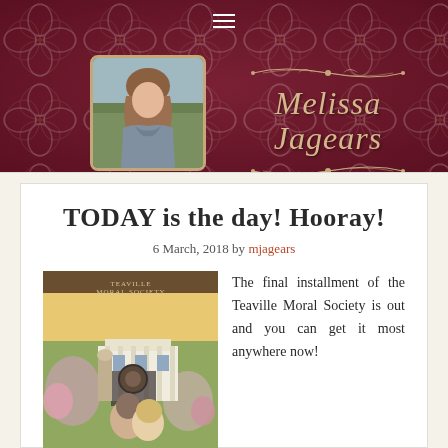[Figure (photo): Website header banner with dark burgundy damask background. Contains a portrait photo of author Melissa Jagears (woman with long brown hair) on the left, and a decorative script logo 'Melissa Jagears' on the right with ornamental flourishes. Menu hamburger icon at top center.]
TODAY is the day! Hooray!
6 March, 2018 by mjagears
[Figure (photo): Book cover for the final installment of the Teaville Moral Society series, showing a couple embracing in front of ornate iron gates and a large white manor house with pink flowering trees.]
The final installment of the Teaville Moral Society is out and you can get it most anywhere now!